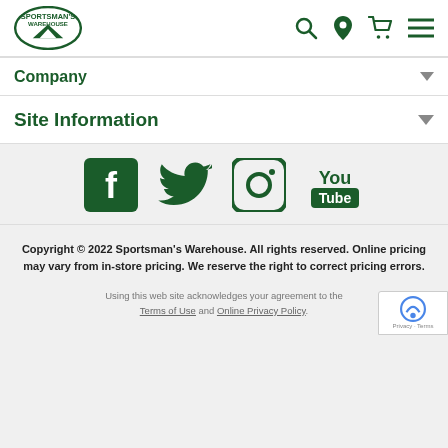Sportsman's Warehouse - header with logo and nav icons
Company
Site Information
[Figure (other): Social media icons: Facebook, Twitter, Instagram, YouTube in green]
Copyright © 2022 Sportsman's Warehouse. All rights reserved. Online pricing may vary from in-store pricing. We reserve the right to correct pricing errors.
Using this web site acknowledges your agreement to the Terms of Use and Online Privacy Policy.